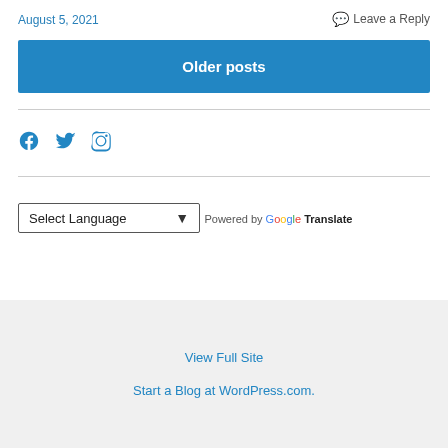August 5, 2021
Leave a Reply
Older posts
[Figure (illustration): Social media icons: Facebook, Twitter, Instagram in blue]
Select Language (dropdown)
Powered by Google Translate
View Full Site
Start a Blog at WordPress.com.